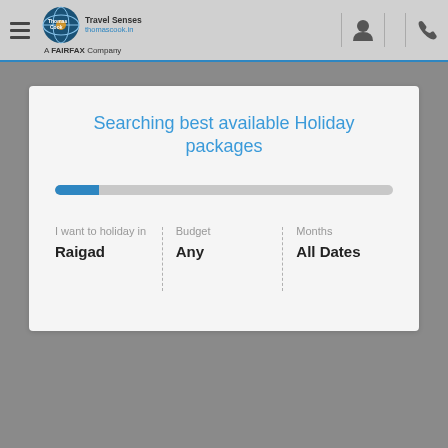[Figure (logo): Thomas Cook Travel Senses logo with globe icon, thomascook.in, A FAIRFAX Company text, hamburger menu, user icon, phone icon]
Searching best available Holiday packages
I want to holiday in: Raigad | Budget: Any | Months: All Dates